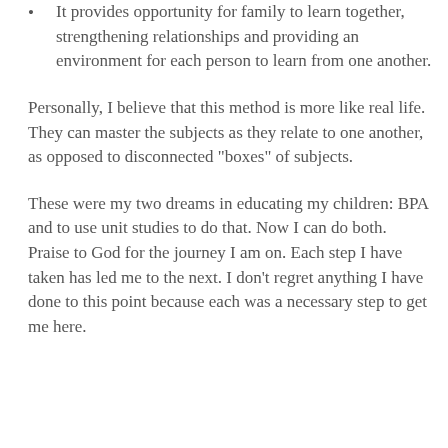It provides opportunity for family to learn together, strengthening relationships and providing an environment for each person to learn from one another.
Personally, I believe that this method is more like real life. They can master the subjects as they relate to one another, as opposed to disconnected "boxes" of subjects.
These were my two dreams in educating my children: BPA and to use unit studies to do that. Now I can do both. Praise to God for the journey I am on. Each step I have taken has led me to the next. I don't regret anything I have done to this point because each was a necessary step to get me here.